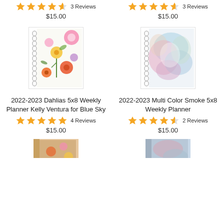Free Planner (partial top left)
Free Planner (partial top right)
3 Reviews
$15.00
3 Reviews
$15.00
[Figure (photo): 2022-2023 Dahlias 5x8 Weekly Planner Kelly Ventura for Blue Sky - floral cover notebook]
[Figure (photo): 2022-2023 Multi Color Smoke 5x8 Weekly Planner - watercolor abstract cover notebook]
2022-2023 Dahlias 5x8 Weekly Planner Kelly Ventura for Blue Sky
4 Reviews
$15.00
2022-2023 Multi Color Smoke 5x8 Weekly Planner
2 Reviews
$15.00
[Figure (photo): Partial product image at bottom left]
[Figure (photo): Partial product image at bottom right]